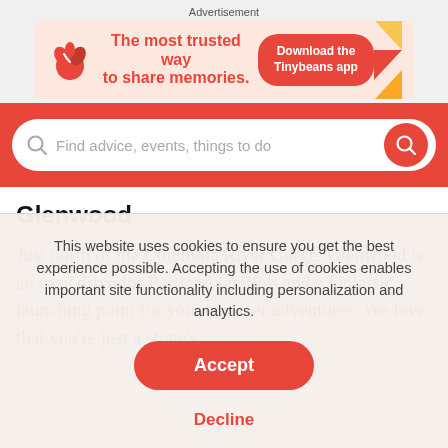Advertisement
[Figure (illustration): Tinybeans advertisement banner: red plant/sprout icon on left, text 'The most trusted way to share memories.' in red, 'Download the Tinybeans app' button on right with decorative triangles]
[Figure (screenshot): Red search bar with placeholder text 'Find advice, events, things to do' and a red circular search button]
Glenwood
Just north of the Columbia River Gorge, Glenwood is an easy drive for Portland families and a fantastic launching point for your summer adventures. We love that you’re just a stone’s
This website uses cookies to ensure you get the best experience possible. Accepting the use of cookies enables important site functionality including personalization and analytics.
Accept
Decline